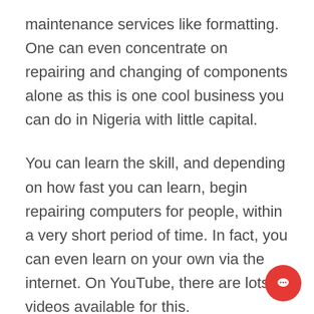maintenance services like formatting. One can even concentrate on repairing and changing of components alone as this is one cool business you can do in Nigeria with little capital.
You can learn the skill, and depending on how fast you can learn, begin repairing computers for people, within a very short period of time. In fact, you can even learn on your own via the internet. On YouTube, there are lots of videos available for this.
6. Home Lesson Tutor: As Nigerians, we all know that exams like JAMB, WAEC, GCE and others, are always around the corner. And guess